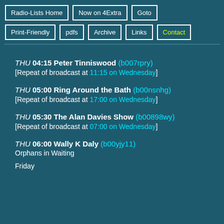Radio-Lists Home | Now on 4Extra | Goto | Print-Friendly | pdfs | Archive | Links | Contact
THU 04:15 Peter Tinniswood (b007rpry)
[Repeat of broadcast at 11:15 on Wednesday]
THU 05:00 Ring Around the Bath (b00nsnhg)
[Repeat of broadcast at 17:00 on Wednesday]
THU 05:30 The Alan Davies Show (b00898wy)
[Repeat of broadcast at 07:00 on Wednesday]
THU 06:00 Wally K Daly (b00yjy11)
Orphans in Waiting

Friday